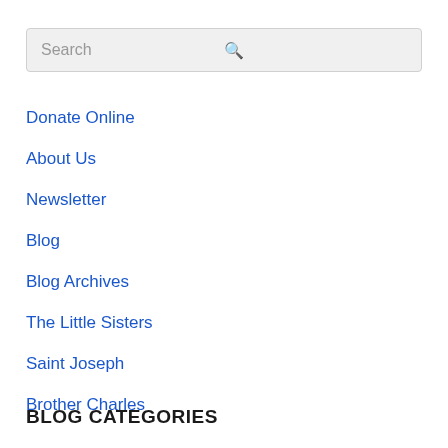[Figure (other): Search bar with placeholder text 'Search' and a magnifying glass icon on the right]
Donate Online
About Us
Newsletter
Blog
Blog Archives
The Little Sisters
Saint Joseph
Brother Charles
Photo Gallery
Privacy Policy
Site Map
BLOG CATEGORIES